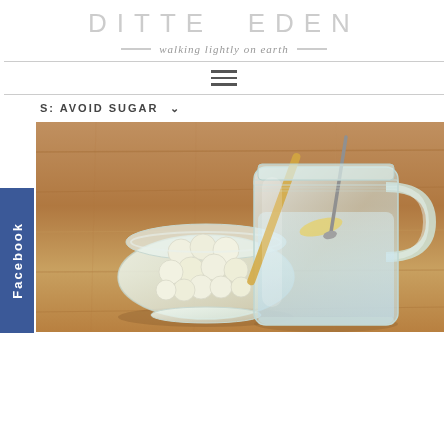DITTE EDEN — walking lightly on earth
S: AVOID SUGAR
[Figure (photo): A glass mason jar mug filled with water and a lemon slice/honey stirrer, next to a small glass bowl filled with white round candies or sugar pearls, on a wooden table background.]